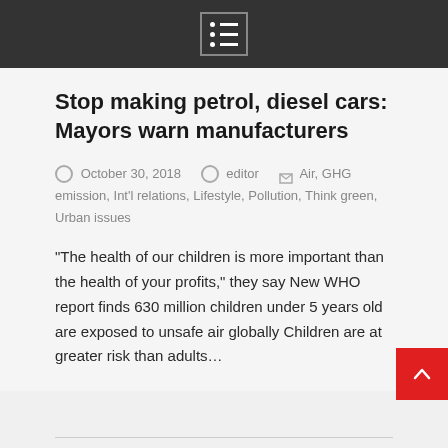[Menu icon]
Stop making petrol, diesel cars: Mayors warn manufacturers
October 30, 2018   editor   Air, GHG emission, Int'l relations, Lifestyle, Pollution, Think green, Urban issues
“The health of our children is more important than the health of your profits,” they say New WHO report finds 630 million children under 5 years old are exposed to unsafe air globally Children are at greater risk than adults…